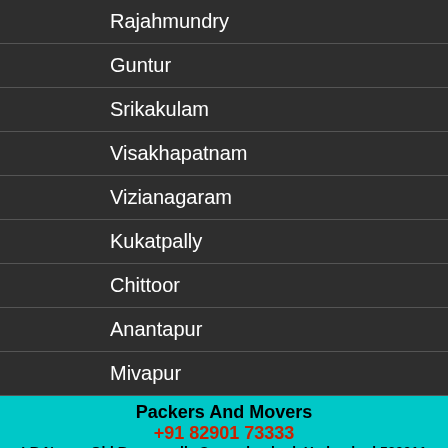Rajahmundry
Guntur
Srikakulam
Visakhapatnam
Vizianagaram
Kukatpally
Chittoor
Anantapur
Mivapur
Packers And Movers
+91 82901 73333
LB Nagar, Old Bowenpally Secunderabad, Hyderabad 500011
Manikonda
Packers And Movers
+91 82901 73333
Swarndhama Colony, Old BowenPally, Secunderabad 500011
Vijaywada
Warangal